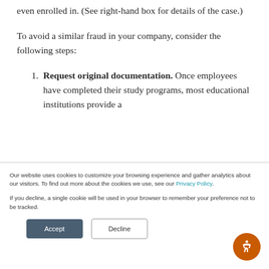even enrolled in. (See right-hand box for details of the case.)
To avoid a similar fraud in your company, consider the following steps:
1. Request original documentation. Once employees have completed their study programs, most educational institutions provide a
Our website uses cookies to customize your browsing experience and gather analytics about our visitors. To find out more about the cookies we use, see our Privacy Policy.

If you decline, a single cookie will be used in your browser to remember your preference not to be tracked.
Accept
Decline